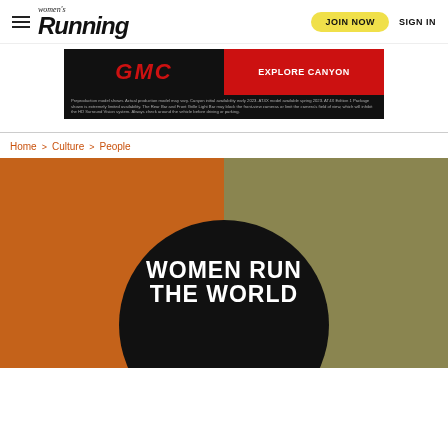Women's Running | JOIN NOW | SIGN IN
[Figure (other): GMC advertisement banner with GMC logo on black background left side and red 'EXPLORE CANYON' button on right side, with small disclaimer text below]
Home > Culture > People
[Figure (other): Split background image with orange left half and olive/khaki right half, with large black circle overlay containing white bold text 'WOMEN RUN THE WORLD']